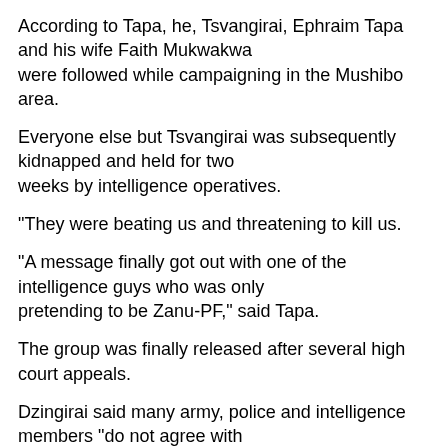According to Tapa, he, Tsvangirai, Ephraim Tapa and his wife Faith Mukwakwa were followed while campaigning in the Mushibo area.
Everyone else but Tsvangirai was subsequently kidnapped and held for two weeks by intelligence operatives.
"They were beating us and threatening to kill us.
"A message finally got out with one of the intelligence guys who was only pretending to be Zanu-PF," said Tapa.
The group was finally released after several high court appeals.
Dzingirai said many army, police and intelligence members "do not agree with the Zanu-PF political stance", but feared losing their jobs.
As a result, he believes "about 5 000" army members have deserted, leaving for South Africa, Botswana, the UK and other countries.